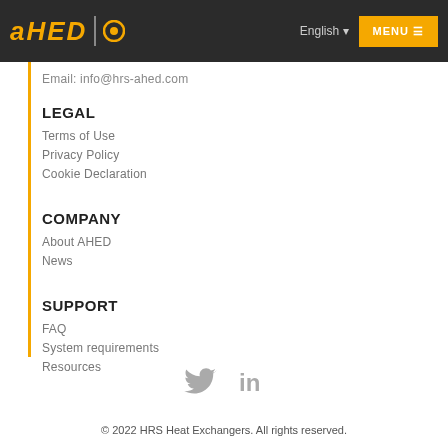AHED | English  MENU
Email: info@hrs-ahed.com
LEGAL
Terms of Use
Privacy Policy
Cookie Declaration
COMPANY
About AHED
News
SUPPORT
FAQ
System requirements
Resources
[Figure (illustration): Twitter and LinkedIn social media icons]
© 2022 HRS Heat Exchangers. All rights reserved.